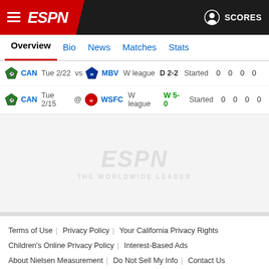ESPN — SCORES
Overview | Bio | News | Matches | Stats
| Team | Date | Vs/At | Opponent | League | Result | Status | Stat1 | Stat2 | Stat3 | Stat4 |
| --- | --- | --- | --- | --- | --- | --- | --- | --- | --- | --- |
| CAN | Tue 2/22 | vs | MBV | W league | D 2-2 | Started | 0 | 0 | 0 | 0 |
| CAN | Tue 2/15 | @ | WSFC | W league | W 5-0 | Started | 0 | 0 | 0 | 0 |
[Figure (logo): ESPN watermark logo in light gray]
Terms of Use | Privacy Policy | Your California Privacy Rights | Children's Online Privacy Policy | Interest-Based Ads | About Nielsen Measurement | Do Not Sell My Info | Contact Us | Disney Ad Sales Site | Work for ESPN | Copyright: © ESPN Enterprises, Inc. All rights reserved.